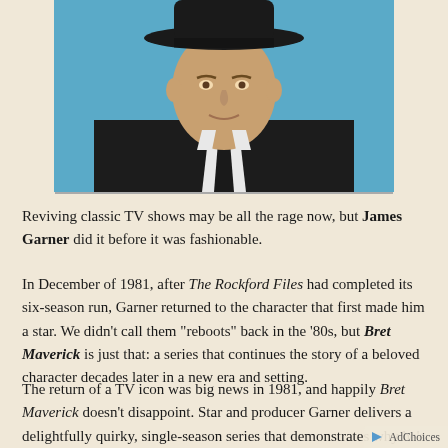[Figure (photo): Portrait photo of James Garner wearing a dark suit, white shirt, dark tie, and a wide-brimmed hat, against a blue background. The photo is cropped to show him from the shoulders up.]
Reviving classic TV shows may be all the rage now, but James Garner did it before it was fashionable.
In December of 1981, after The Rockford Files had completed its six-season run, Garner returned to the character that first made him a star. We didn't call them "reboots" back in the '80s, but Bret Maverick is just that: a series that continues the story of a beloved character decades later in a new era and setting.
The return of a TV icon was big news in 1981, and happily Bret Maverick doesn't disappoint. Star and producer Garner delivers a delightfully quirky, single-season series that demonstrates why he's universa